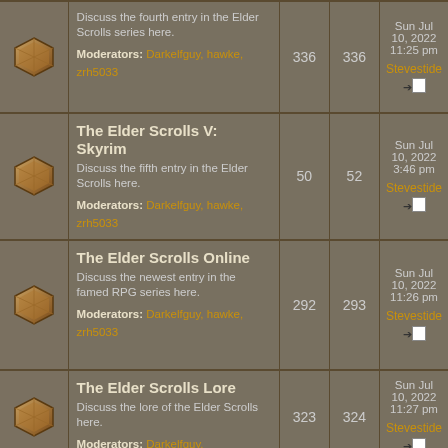|  | Forum | Topics | Posts | Last Post |
| --- | --- | --- | --- | --- |
| [icon] | Discuss the fourth entry in the Elder Scrolls series here.
Moderators: Darkelfguy, hawke, zrh5033 | 336 | 336 | Sun Jul 10, 2022 11:25 pm
Stevestide |
| [icon] | The Elder Scrolls V: Skyrim
Discuss the fifth entry in the Elder Scrolls here.
Moderators: Darkelfguy, hawke, zrh5033 | 50 | 52 | Sun Jul 10, 2022 3:46 pm
Stevestide |
| [icon] | The Elder Scrolls Online
Discuss the newest entry in the famed RPG series here.
Moderators: Darkelfguy, hawke, zrh5033 | 292 | 293 | Sun Jul 10, 2022 11:26 pm
Stevestide |
| [icon] | The Elder Scrolls Lore
Discuss the lore of the Elder Scrolls here.
Moderators: Darkelfguy, | 323 | 324 | Sun Jul 10, 2022 11:27 pm
Stevestide |